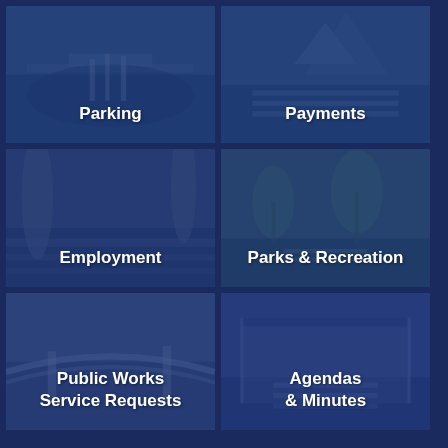[Figure (screenshot): City government website navigation tile showing marina/waterfront photo with blue overlay and label 'Parking']
[Figure (screenshot): City government website navigation tile showing modern sculpture/building photo with blue overlay and label 'Payments']
[Figure (screenshot): City government website navigation tile showing palm trees/waterfront photo with blue overlay and label 'Employment']
[Figure (screenshot): City government website navigation tile showing park/trees photo with blue overlay and label 'Parks & Recreation']
[Figure (screenshot): City government website navigation tile showing bridge/infrastructure photo with blue overlay and label 'Public Works Service Requests']
[Figure (screenshot): City government website navigation tile showing covered walkway/pavilion photo with blue overlay and label 'Agendas & Minutes']